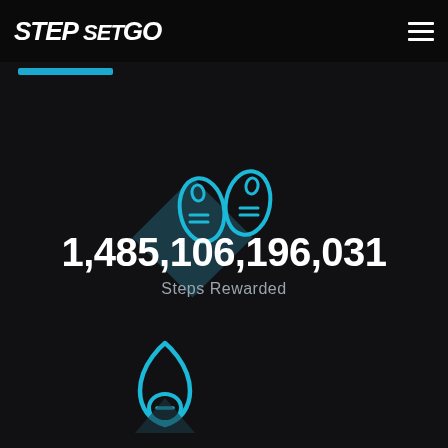STEP SET GO
[Figure (logo): StepSetGO logo in white bold italic text with hamburger menu icon on right]
[Figure (illustration): Two cyan/teal colored shoe footprint icons above a dark teal diamond/rhombus shape]
1,485,106,196,031
Steps Rewarded
[Figure (illustration): Cyan/teal colored flame icon partially visible at bottom of page]